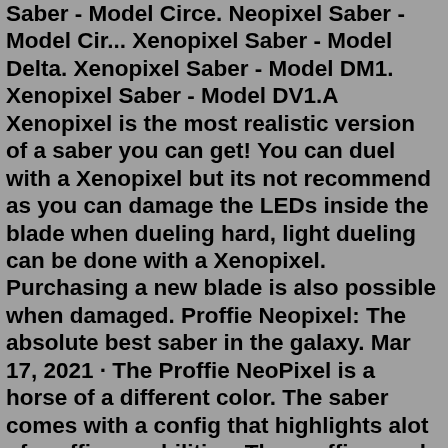Saber - Model Circe. Neopixel Saber - Model Cir... Xenopixel Saber - Model Delta. Xenopixel Saber - Model DM1. Xenopixel Saber - Model DV1.A Xenopixel is the most realistic version of a saber you can get! You can duel with a Xenopixel but its not recommend as you can damage the LEDs inside the blade when dueling hard, light dueling can be done with a Xenopixel. Purchasing a new blade is also possible when damaged. Proffie Neopixel: The absolute best saber in the galaxy. Mar 17, 2021 · The Proffie NeoPixel is a horse of a different color. The saber comes with a config that highlights alot of proffie capabilities. The proffie can do things like melt effects where the tip glows, localized flash on clash, etc. It is also moddable and programable. The format itself is open sourced and very popular. Eco Pixel sabers have visuals which can't be customised. These are perfect for someone wanting to upgrade from the standard RGB base lit saber but with similar features to the GHv3/Proffie Pixel sabers (the super bright 50W LED blade and cool sounds). As of September